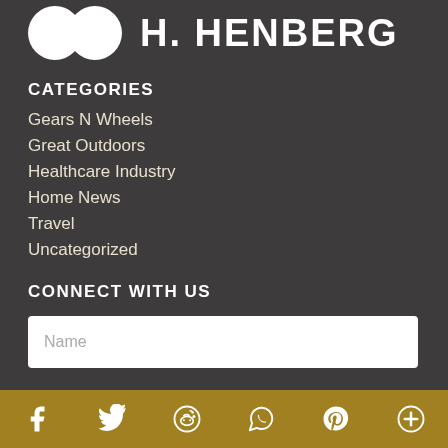[Figure (logo): Two overlapping white circles followed by bold white uppercase text 'H. HENBERG']
CATEGORIES
Gears N Wheels
Great Outdoors
Healthcare Industry
Home News
Travel
Uncategorized
CONNECT WITH US
Name
[Figure (infographic): Social media icon bar with gold background: Facebook, Twitter, Reddit, WhatsApp, Pinterest, Plus icons in white]